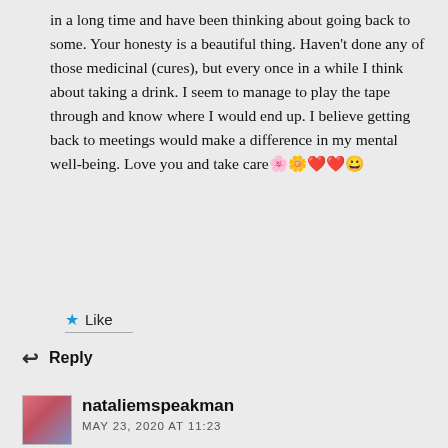in a long time and have been thinking about going back to some. Your honesty is a beautiful thing. Haven't done any of those medicinal (cures), but every once in a while I think about taking a drink. I seem to manage to play the tape through and know where I would end up. I believe getting back to meetings would make a difference in my mental well-being. Love you and take care🌸🌼❤️❤️😀
★ Like
↩ Reply
nataliemspeakman
MAY 23, 2020 AT 11:23
Hi Kathy, thank you so much for sharing, it has